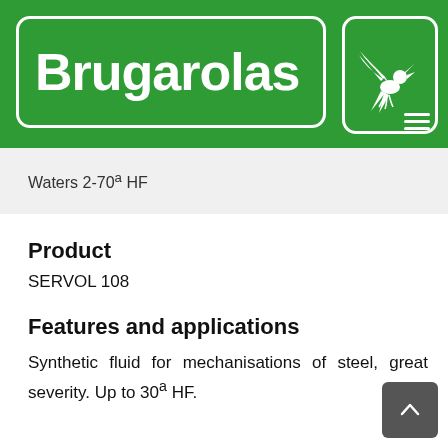[Figure (logo): Brugarolas company logo on green background with white text and bird illustration]
Waters 2-70º HF
Product
SERVOL 108
Features and applications
Synthetic fluid for mechanisations of steel, great severity. Up to 30º HF.